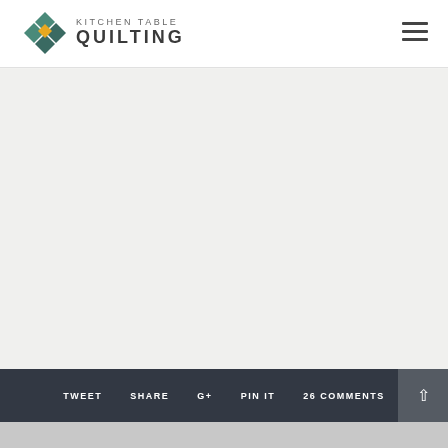[Figure (logo): Kitchen Table Quilting logo with geometric quilt block icon in teal, yellow, and dark teal colors, with text KITCHEN TABLE QUILTING]
[Figure (other): Hamburger menu icon with three horizontal lines]
[Figure (other): Large empty gray content area]
TWEET   SHARE   G+   PIN IT   26 COMMENTS